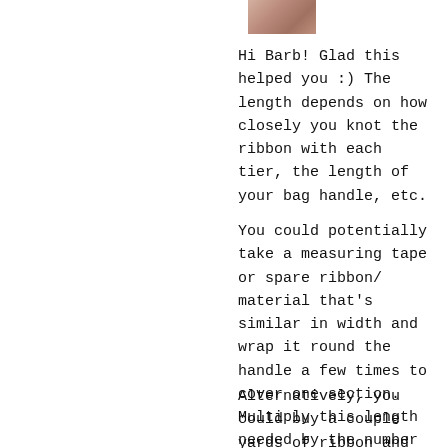[Figure (photo): Small thumbnail photo of a person or object, partially visible at the top of the page]
Hi Barb! Glad this helped you :) The length depends on how closely you knot the ribbon with each tier, the length of your bag handle, etc.
You could potentially take a measuring tape or spare ribbon/ material that's similar in width and wrap it round the handle a few times to cover one section. Multiply this length needed by the number of sections needed to cover the entire handle and multiply it again by 2 to give enough space for the knot and add some excess for the start and finish wrapping.
Alternatively, you could buy a couple yards of ribbon and just keep going without cutting the ribbon until you're done. The additional ribbon can be kept for future